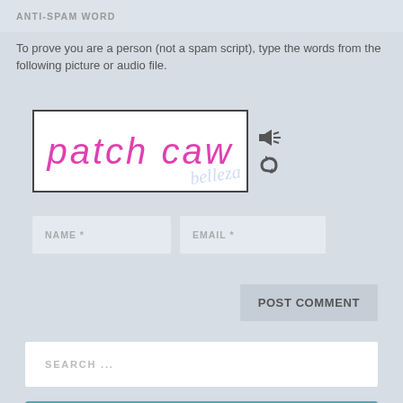ANTI-SPAM WORD
To prove you are a person (not a spam script), type the words from the following picture or audio file.
[Figure (screenshot): CAPTCHA image showing the words 'patch caw' in pink italic text with a watermark, alongside speaker and refresh icons]
NAME *
EMAIL *
POST COMMENT
SEARCH ...
MY AMAZON AUTHOR'S PAGE
[Figure (photo): Partial photo of a person wearing a hat, cropped at bottom of page]